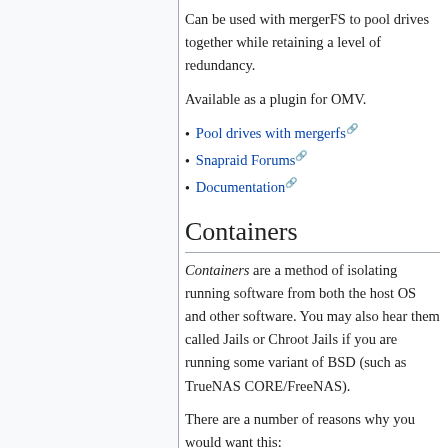Can be used with mergerFS to pool drives together while retaining a level of redundancy.
Available as a plugin for OMV.
Pool drives with mergerfs
Snapraid Forums
Documentation
Containers
Containers are a method of isolating running software from both the host OS and other software. You may also hear them called Jails or Chroot Jails if you are running some variant of BSD (such as TrueNAS CORE/FreeNAS).
There are a number of reasons why you would want this: